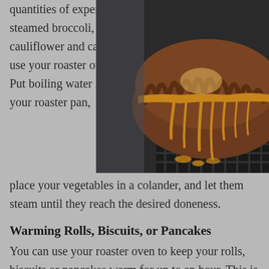quantities of expertly steamed broccoli, cauliflower and carrots, use your roaster oven. Put boiling water into your roaster pan, place your vegetables in a colander, and let them steam until they reach the desired doneness.
[Figure (photo): Close-up photo of a glazed bundt cake with caramel/golden glaze dripping down the sides, sitting on a wire cooling rack against a dark background.]
Warming Rolls, Biscuits, or Pancakes
You can use your roaster oven to keep your rolls, biscuits or pancakes warm for up to an hour. This is especially useful if you are serving a buffet-style meal. Whether it's brunch or dinner, the roaster oven will let your guests